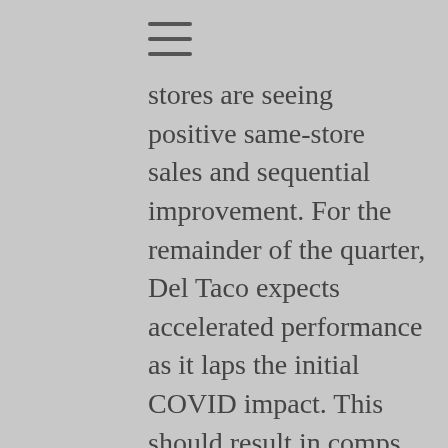stores are seeing positive same-store sales and sequential improvement. For the remainder of the quarter, Del Taco expects accelerated performance as it laps the initial COVID impact. This should result in comps growth in the mid-single digits for corporate locations and low-double digits for franchises.
Del Taco posted a restaurant contribution margin of 17 percent, down only 40 basis points from last year. This was achieved through a menu price increase of 4 percent, which favorably impacted food and labor costs. The chain earned total revenues of $491.9 million, representing a 4.1